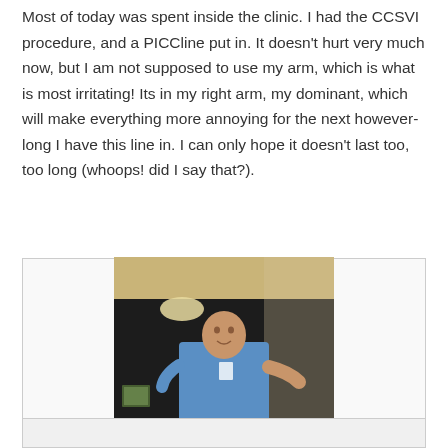Most of today was spent inside the clinic. I had the CCSVI procedure, and a PICCline put in. It doesn't hurt very much now, but I am not supposed to use my arm, which is what is most irritating! Its in my right arm, my dominant, which will make everything more annoying for the next however-long I have this line in. I can only hope it doesn't last too, too long (whoops! did I say that?).
[Figure (photo): Photo of a person in blue medical scrubs standing in what appears to be a clinic or hospital room, gesturing with their hand.]